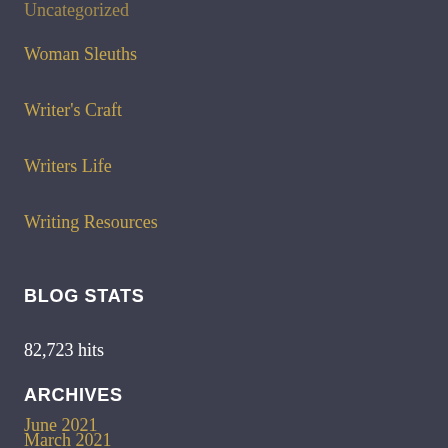Uncategorized
Woman Sleuths
Writer's Craft
Writers Life
Writing Resources
BLOG STATS
82,723 hits
ARCHIVES
June 2021
March 2021